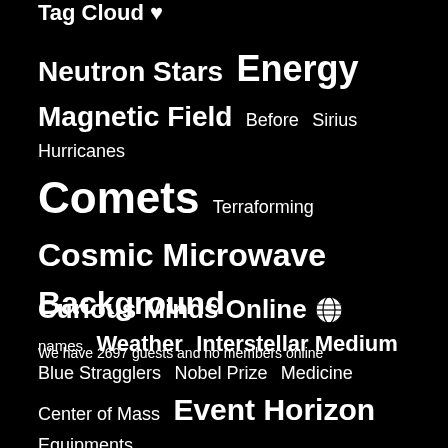Tag Cloud ♥
[Figure (infographic): Tag cloud with science/astronomy topics in varying font sizes on black background. Topics include: Neutron Stars, Energy, Magnetic Field, Before, Sirius, Hurricanes, Comets, Terraforming, Cosmic Microwave Background, names, Weather, Interstellar Medium, Blue Stragglers, Nobel Prize, Medicine, Center of Mass, Event Horizon, Equipments, Colonization, Tidal Friction]
Curious Minds Online 🌐
We have 2697 guests and no members online